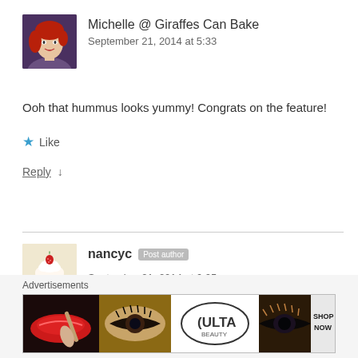[Figure (photo): Avatar photo of a woman with red hair]
Michelle @ Giraffes Can Bake
September 21, 2014 at 5:33
Ooh that hummus looks yummy! Congrats on the feature!
★ Like
Reply ↓
[Figure (photo): Avatar photo showing a cupcake with strawberry]
nancyc Post author
September 21, 2014 at 6:05
Advertisements
[Figure (photo): ULTA beauty advertisement banner with makeup/beauty imagery and SHOP NOW call to action]